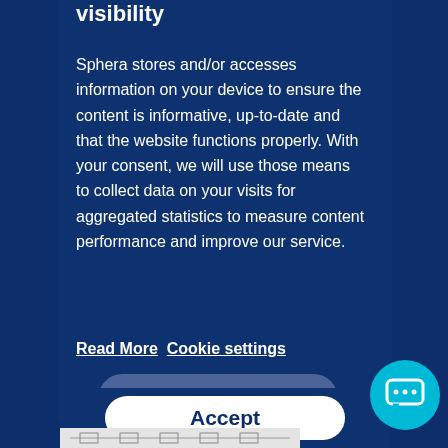visibility
Sphera stores and/or accesses information on your device to ensure the content is informative, up-to-date and that the website functions properly. With your consent, we will use those means to collect data on your visits for aggregated statistics to measure content performance and improve our service.
Read More   Cookie settings
Reject
Accept